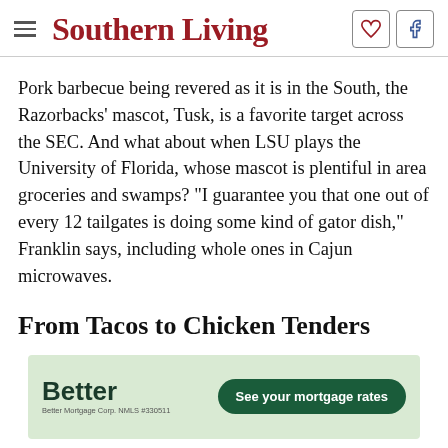Southern Living
Pork barbecue being revered as it is in the South, the Razorbacks' mascot, Tusk, is a favorite target across the SEC. And what about when LSU plays the University of Florida, whose mascot is plentiful in area groceries and swamps? "I guarantee you that one out of every 12 tailgates is doing some kind of gator dish," Franklin says, including whole ones in Cajun microwaves.
From Tacos to Chicken Tenders
[Figure (other): Better Mortgage advertisement banner with green background, 'Better' logo, 'Better Mortgage Corp. NMLS #330511' text, and 'See your mortgage rates' green button]